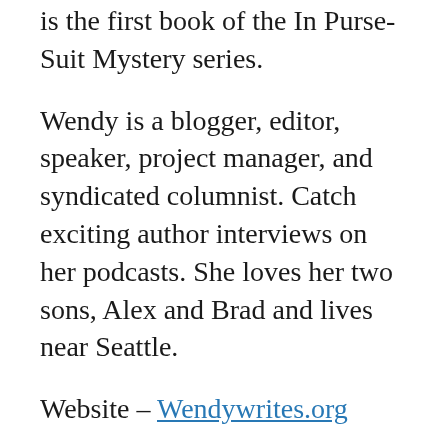is the first book of the In Purse-Suit Mystery series.
Wendy is a blogger, editor, speaker, project manager, and syndicated columnist. Catch exciting author interviews on her podcasts. She loves her two sons, Alex and Brad and lives near Seattle.
Website – Wendywrites.org
Blog – ApassionForPurses.blogspot